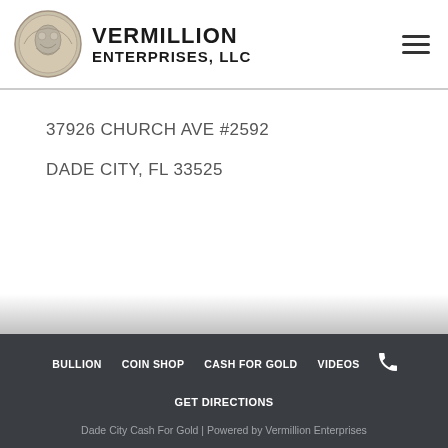VERMILLION ENTERPRISES, LLC
37926 CHURCH AVE #2592
DADE CITY, FL 33525
BULLION  COIN SHOP  CASH FOR GOLD  VIDEOS  GET DIRECTIONS  Dade City Cash For Gold | Powered by Vermillion Enterprises